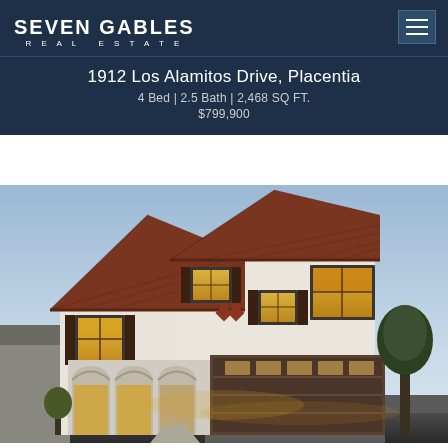SEVEN GABLES REAL ESTATE
1912 Los Alamitos Drive, Placentia
4 Bed | 2.5 Bath | 2,468 SQ FT.
$799,900
[Figure (photo): Exterior photo of a two-story Mediterranean/Spanish-style home at dusk with white stucco walls, dark brown tile roof, arched entryway, two-car garage with windows, outdoor lighting, and brown window shutters.]